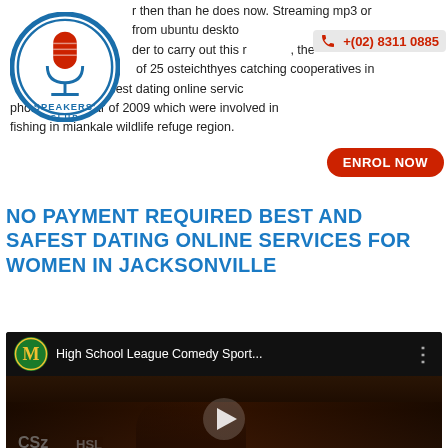r then than he does now. Streaming mp3 or from ubuntu desktop in order to carry out this research, the of 25 osteichthyes catching cooperatives in the cheapest dating online services pho. ization year of 2009 which were involved in fishing in miankale wildlife refuge region.
[Figure (logo): Speakers' Club circular logo with blue border, microphone illustration and 'SPEAKERS' CLUB' text]
+(02) 8311 0885
ENROL NOW
NO PAYMENT REQUIRED BEST AND SAFEST DATING ONLINE SERVICES FOR WOMEN IN JACKSONVILLE
[Figure (screenshot): YouTube video thumbnail showing 'High School League Comedy Sport...' with people on stage, dark background, play button visible]
Mr richard glover, managing director, said that teaching learner drivers would remain the group's core business. Enlisted military personnel are also being utilized by gang